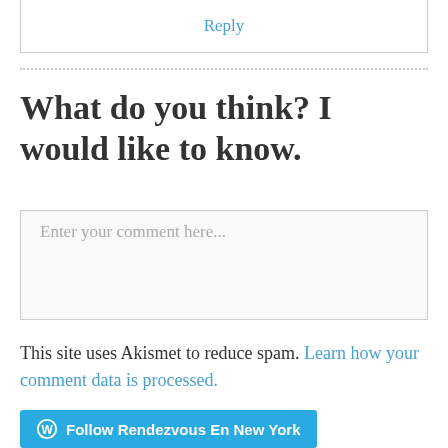Reply
What do you think? I would like to know.
Enter your comment here...
This site uses Akismet to reduce spam. Learn how your comment data is processed.
Follow Rendezvous En New York